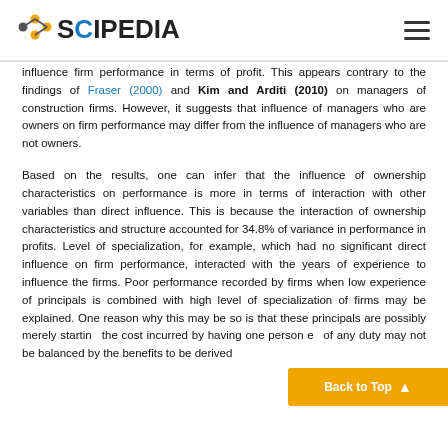SCIPEDIA
influence firm performance in terms of profit. This appears contrary to the findings of Fraser (2000) and Kim and Arditi (2010) on managers of construction firms. However, it suggests that influence of managers who are owners on firm performance may differ from the influence of managers who are not owners.
Based on the results, one can infer that the influence of ownership characteristics on performance is more in terms of interaction with other variables than direct influence. This is because the interaction of ownership characteristics and structure accounted for 34.8% of variance in performance in profits. Level of specialization, for example, which had no significant direct influence on firm performance, interacted with the years of experience to influence the firms. Poor performance recorded by firms when low experience of principals is combined with high level of specialization of firms may be explained. One reason why this may be so is that these principals are possibly merely starting... the cost incurred by having one person ex... of any duty may not be balanced by the benefits to be derived